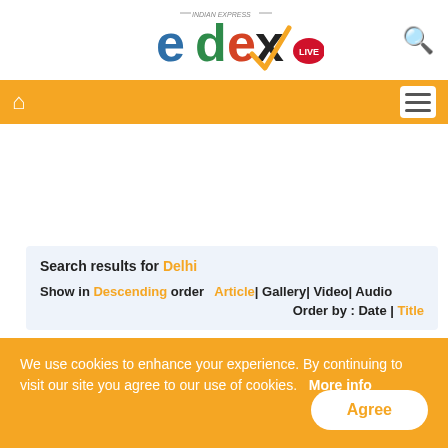[Figure (logo): Edex Live logo by Indian Express — colorful letters e, d, e, x with a checkmark and LIVE badge]
[Figure (screenshot): Navigation bar with home icon and hamburger menu on orange background]
Show Advance Search
Search results for Delhi
Show in Descending order  Article| Gallery| Video| Audio
Order by : Date | Title
#AmbedkarJayanti: Delhi's School of Specialised Excellence to be renamed
We use cookies to enhance your experience. By continuing to visit our site you agree to our use of cookies.  More info